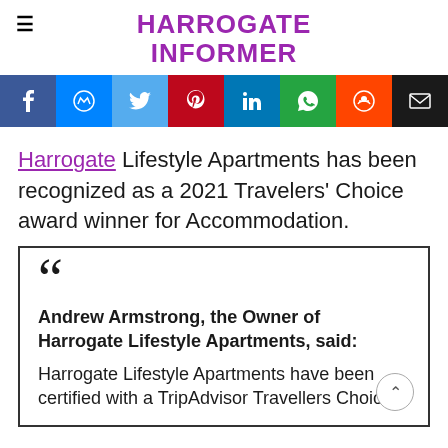HARROGATE INFORMER
[Figure (infographic): Social share buttons: Facebook, Messenger, Twitter, Pinterest, LinkedIn, WhatsApp, Reddit, Email]
Harrogate Lifestyle Apartments has been recognized as a 2021 Travelers' Choice award winner for Accommodation.
Andrew Armstrong, the Owner of Harrogate Lifestyle Apartments, said: Harrogate Lifestyle Apartments have been certified with a TripAdvisor Travellers Choice